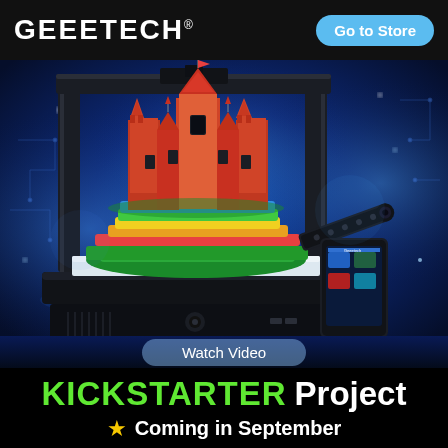[Figure (logo): GEEETECH brand logo in white bold text with registered trademark symbol on black header bar]
Go to Store
[Figure (photo): Geeetech 3D printer on blue glowing background with a colorful castle model being printed, touchscreen controller visible to the right]
Watch Video
KICKSTARTER Project
★ Coming in September